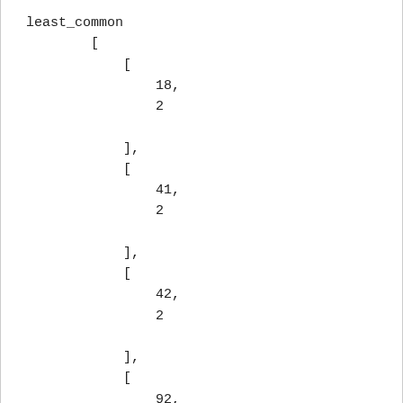least_common
        [
            [
                18,
                2

            ],
            [
                41,
                2

            ],
            [
                42,
                2

            ],
            [
                92,
                2

            ],
            [